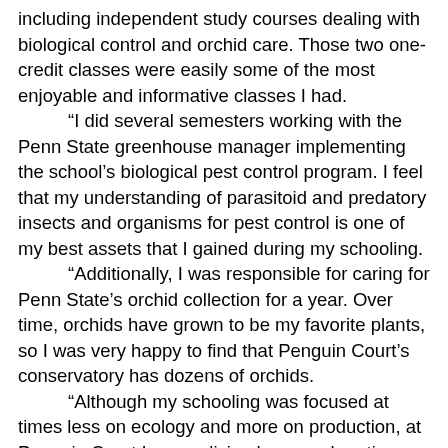including independent study courses dealing with biological control and orchid care. Those two one-credit classes were easily some of the most enjoyable and informative classes I had.
“I did several semesters working with the Penn State greenhouse manager implementing the school’s biological pest control program. I feel that my understanding of parasitoid and predatory insects and organisms for pest control is one of my best assets that I gained during my schooling.
“Additionally, I was responsible for caring for Penn State’s orchid collection for a year. Over time, orchids have grown to be my favorite plants, so I was very happy to find that Penguin Court’s conservatory has dozens of orchids.
“Although my schooling was focused at times less on ecology and more on production, at Penguin Court I am realizing how much native and pollinator habitat restoration appeals to me. Before and during college,
“I worked for a cut flower farm for years, and, while I loved it, I could feel it was not the most sustainable for the environment. The beauty of what we produced and the happiness of our customers purchasing bouquets was rewarding, but now I am realizing the beauty and intrigue of the visiting pollinators that these plants will help see to